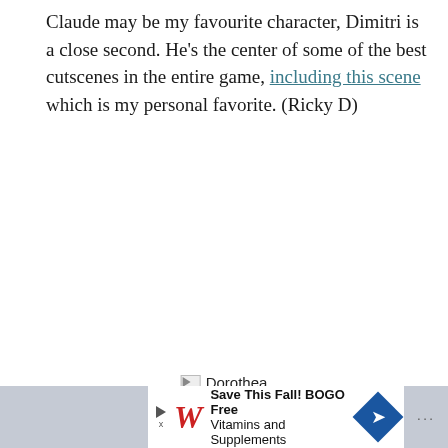Claude may be my favourite character, Dimitri is a close second. He's the center of some of the best cutscenes in the entire game, including this scene which is my personal favorite. (Ricky D)
[Figure (illustration): Broken image placeholder with alt text 'Dorothea']
[Figure (infographic): Advertisement banner: Walgreens - Save This Fall! BOGO Free Vitamins and Supplements, with blue arrow road sign icon]